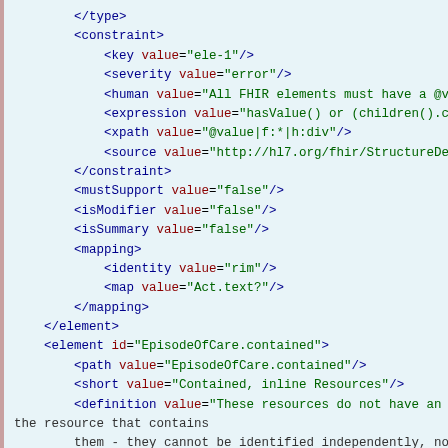XML FHIR StructureDefinition code snippet showing constraint, mustSupport, isModifier, isSummary, mapping, and element (EpisodeOfCare.contained) definitions